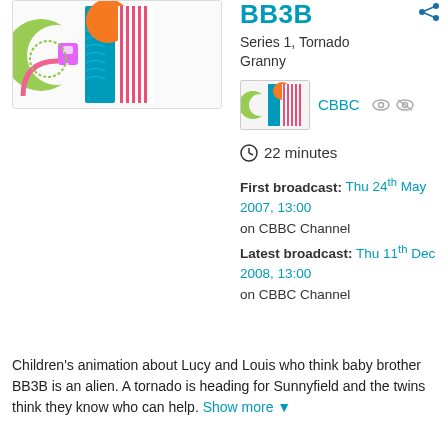[Figure (illustration): Colorful animated BB3B show logo with stylized letters and character shapes in teal, green, orange, pink on white background]
BB3B
Series 1, Tornado Granny
[Figure (thumbnail): Small thumbnail of BB3B show logo]
CBBC
22 minutes
First broadcast: Thu 24th May 2007, 13:00 on CBBC Channel
Latest broadcast: Thu 11th Dec 2008, 13:00 on CBBC Channel
Children's animation about Lucy and Louis who think baby brother BB3B is an alien. A tornado is heading for Sunnyfield and the twins think they know who can help. Show more ▼